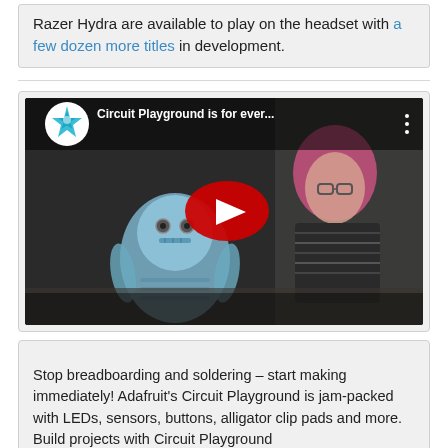Razer Hydra are available to play on the headset with a few dozen more titles in development.
[Figure (screenshot): YouTube video thumbnail showing 'Circuit Playground is for ever...' with a robot toy and a woman with pink hair in the background, and a red play button in the center. Features an Adafruit channel icon (blue star on white circle).]
Stop breadboarding and soldering – start making immediately! Adafruit's Circuit Playground is jam-packed with LEDs, sensors, buttons, alligator clip pads and more. Build projects with Circuit Playground...